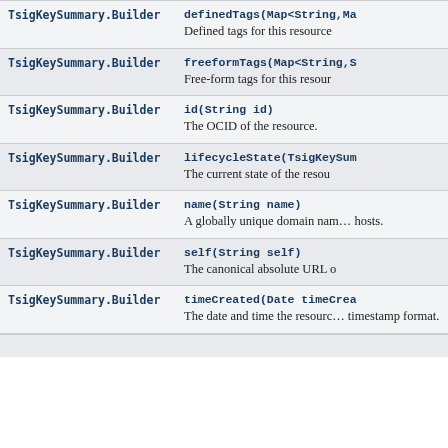| Return Type | Method and Description |
| --- | --- |
| TsigKeySummary.Builder | definedTags(Map<String,Ma…
Defined tags for this resource… |
| TsigKeySummary.Builder | freeformTags(Map<String,S…
Free-form tags for this resou… |
| TsigKeySummary.Builder | id(String id)
The OCID of the resource. |
| TsigKeySummary.Builder | lifecycleState(TsigKeySum…
The current state of the resou… |
| TsigKeySummary.Builder | name(String name)
A globally unique domain nam… hosts. |
| TsigKeySummary.Builder | self(String self)
The canonical absolute URL o… |
| TsigKeySummary.Builder | timeCreated(Date timeCrea…
The date and time the resourc… timestamp format. |